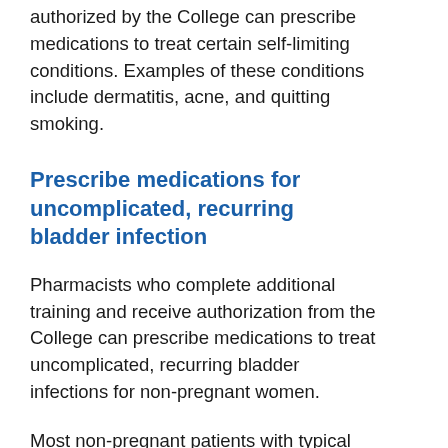authorized by the College can prescribe medications to treat certain self-limiting conditions. Examples of these conditions include dermatitis, acne, and quitting smoking.
Prescribe medications for uncomplicated, recurring bladder infection
Pharmacists who complete additional training and receive authorization from the College can prescribe medications to treat uncomplicated, recurring bladder infections for non-pregnant women.
Most non-pregnant patients with typical signs and symptoms of uncomplicated, recurring bladder infections may be prescribed treatment by an authorized pharmacist; however, under certain conditions, your pharmacist must refer you to another healthcare provider such as your primary care doctor